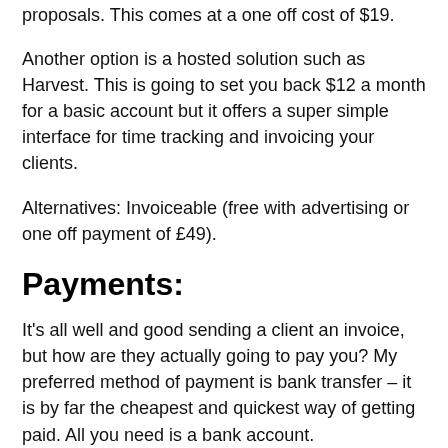proposals. This comes at a one off cost of $19.
Another option is a hosted solution such as Harvest. This is going to set you back $12 a month for a basic account but it offers a super simple interface for time tracking and invoicing your clients.
Alternatives: Invoiceable (free with advertising or one off payment of £49).
Payments:
It's all well and good sending a client an invoice, but how are they actually going to pay you? My preferred method of payment is bank transfer – it is by far the cheapest and quickest way of getting paid. All you need is a bank account.
Bank transfer may be perfect for bigger projects, but what about recurring or small payments? This is going